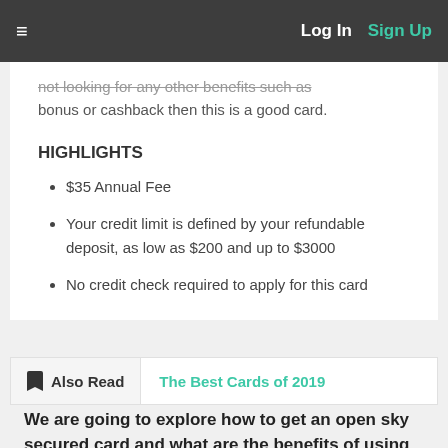≡  Log In  Sign Up
…not looking for any other benefits such as bonus or cashback then this is a good card.
HIGHLIGHTS
$35 Annual Fee
Your credit limit is defined by your refundable deposit, as low as $200 and up to $3000
No credit check required to apply for this card
Also Read  The Best Cards of 2019
We are going to explore how to get an open sky secured card and what are the benefits of using